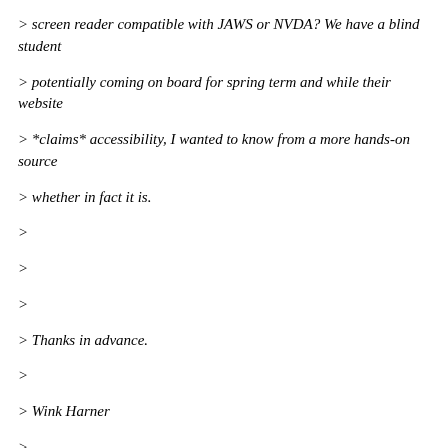> screen reader compatible with JAWS or NVDA? We have a blind student
> potentially coming on board for spring term and while their website
> *claims* accessibility, I wanted to know from a more hands-on source
> whether in fact it is.
>
>
>
> Thanks in advance.
>
> Wink Harner
>